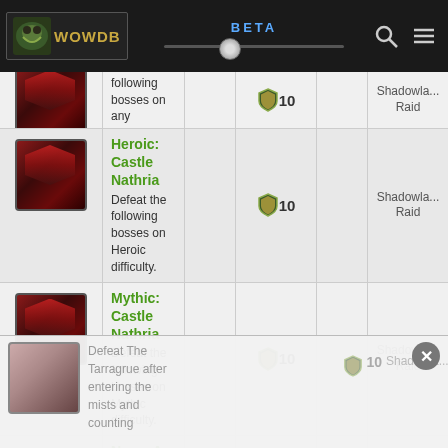WOWDB BETA
| Icon | Achievement |  | Points |  | Category |
| --- | --- | --- | --- | --- | --- |
| [img] | Nathria
Defeat the following bosses on any difficulty. |  | 10 |  | Shadowlands Raid |
| [img] | Heroic: Castle Nathria
Defeat the following bosses on Heroic difficulty. |  | 10 |  | Shadowlands Raid |
| [img] | Mythic: Castle Nathria
Defeat the following bosses on Mythic difficulty. |  | 10 |  | Shadowlands Raid |
| [img] | Name A Better Duo, I'll Wait
Defeat The Tarragrue after entering the mists and counting... |  | 10 |  | Shadowlands |